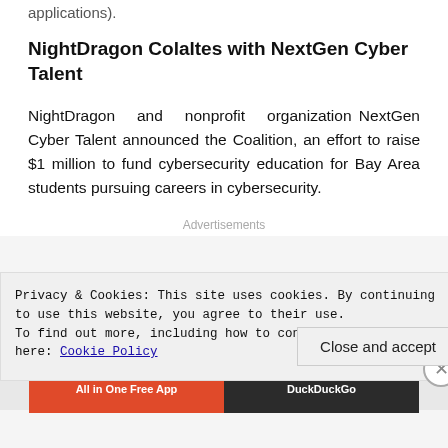applications).
NightDragon Colaltes with NextGen Cyber Talent
NightDragon and nonprofit organization NextGen Cyber Talent announced the Coalition, an effort to raise $1 million to fund cybersecurity education for Bay Area students pursuing careers in cybersecurity.
Advertisements
Privacy & Cookies: This site uses cookies. By continuing to use this website, you agree to their use.
To find out more, including how to control cookies, see here: Cookie Policy
Close and accept